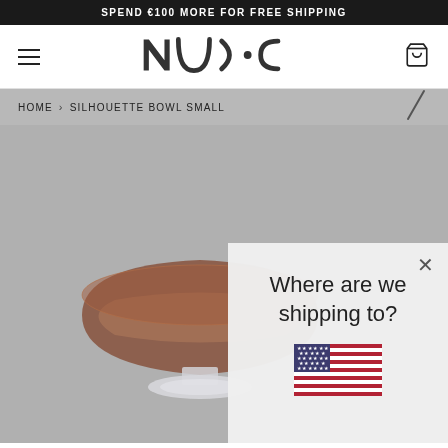SPEND €100 MORE FOR FREE SHIPPING
[Figure (logo): NUDE brand logo in dark gray]
HOME › SILHOUETTE BOWL SMALL
[Figure (photo): Silhouette Bowl Small - amber/brown colored glass bowl on a clear glass pedestal base, photographed on gray background]
Where are we shipping to?
[Figure (illustration): US flag icon]